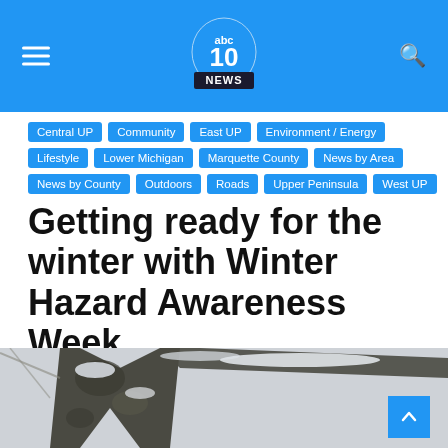ABC 10 NEWS
Central UP
Community
East UP
Environment / Energy
Lifestyle
Lower Michigan
Marquette County
News by Area
News by County
Outdoors
Roads
Upper Peninsula
West UP
Getting ready for the winter with Winter Hazard Awareness Week
5 years ago  ABC 10
[Figure (photo): Close-up photo of a snow-dusted tree branch/trunk in winter, gray and muted tones]